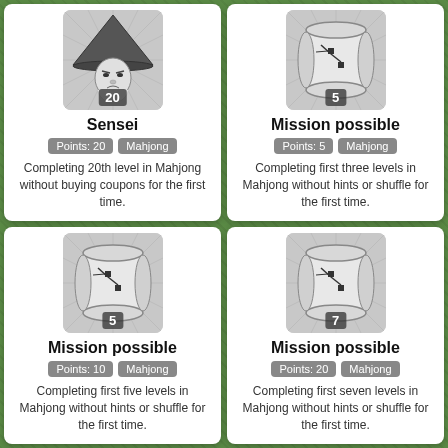[Figure (illustration): Grayscale illustration of a sensei character wearing a conical hat, with number 20 badge]
Sensei
Points: 20   Mahjong
Completing 20th level in Mahjong without buying coupons for the first time.
[Figure (illustration): Grayscale illustration of a scroll/mission icon with number 5 badge]
Mission possible
Points: 5   Mahjong
Completing first three levels in Mahjong without hints or shuffle for the first time.
[Figure (illustration): Grayscale illustration of a scroll/mission icon with number 5 badge]
Mission possible
Points: 10   Mahjong
Completing first five levels in Mahjong without hints or shuffle for the first time.
[Figure (illustration): Grayscale illustration of a scroll/mission icon with number 7 badge]
Mission possible
Points: 20   Mahjong
Completing first seven levels in Mahjong without hints or shuffle for the first time.